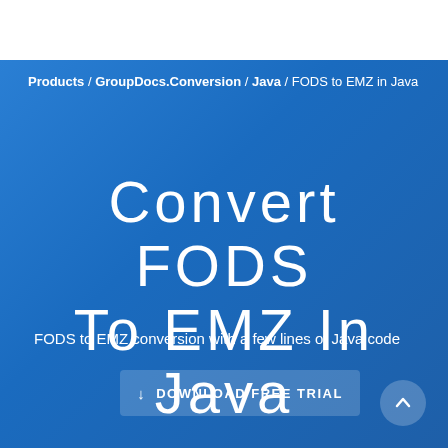Products / GroupDocs.Conversion / Java / FODS to EMZ in Java
Convert FODS To EMZ In Java
FODS to EMZ conversion with a few lines of Java code
DOWNLOAD FREE TRIAL